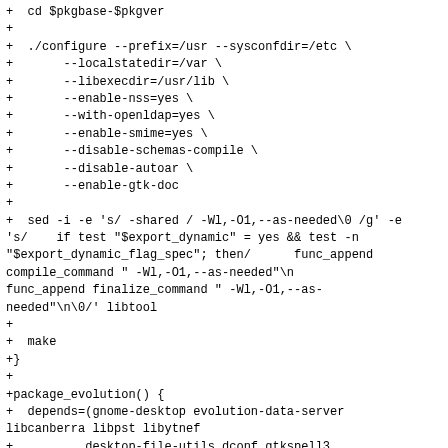+ cd $pkgbase-$pkgver
+
+  ./configure --prefix=/usr --sysconfdir=/etc \
+       --localstatedir=/var \
+       --libexecdir=/usr/lib \
+       --enable-nss=yes \
+       --with-openldap=yes \
+       --enable-smime=yes \
+       --disable-schemas-compile \
+       --disable-autoar \
+       --enable-gtk-doc
+
+  sed -i -e 's/ -shared / -Wl,-O1,--as-needed\0 /g' -e
's/    if test "$export_dynamic" = yes && test -n
"$export_dynamic_flag_spec"; then/      func_append
compile_command " -Wl,-O1,--as-needed"\n
func_append finalize_command " -Wl,-O1,--as-
needed"\n\0/' libtool
+
+  make
+}
+
+package_evolution() {
+  depends=(gnome-desktop evolution-data-server
libcanberra libpst libytnef
+          desktop-file-utils dconf gtkspell3
libcryptui webkitgtk)
+  install=evolution.install
+  optdepends=('highlight: text highlight plugin'
+              'evolution-spamassassin: Spamassassin
spam_check plugin'